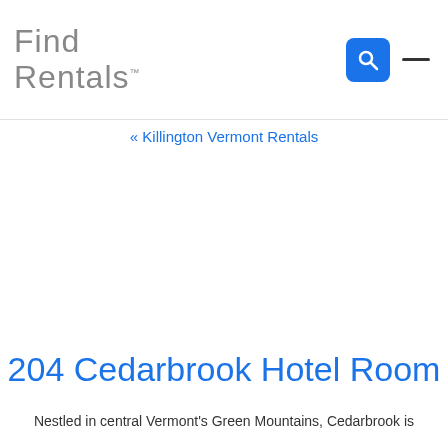Find Rentals™
« Killington Vermont Rentals
204 Cedarbrook Hotel Room
Nestled in central Vermont's Green Mountains, Cedarbrook is